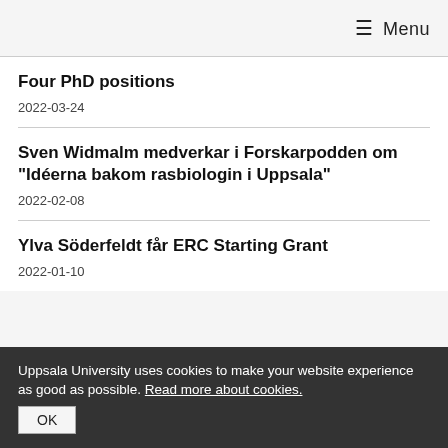≡ Menu
Four PhD positions
2022-03-24
Sven Widmalm medverkar i Forskarpodden om "Idéerna bakom rasbiologin i Uppsala"
2022-02-08
Ylva Söderfeldt får ERC Starting Grant
2022-01-10
Uppsala University uses cookies to make your website experience as good as possible. Read more about cookies.